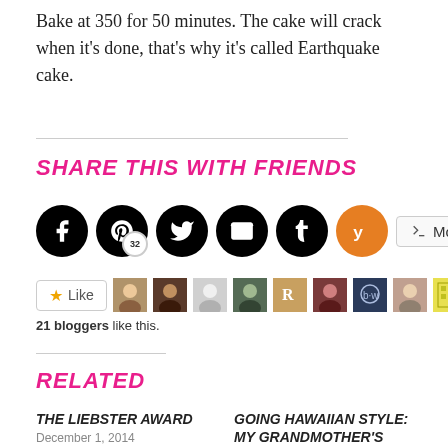Bake at 350 for 50 minutes. The cake will crack when it’s done, that’s why it’s called Earthquake cake.
SHARE THIS WITH FRIENDS
[Figure (screenshot): Social media sharing buttons: Facebook, Pinterest (32 saves), Twitter, Email, Tumblr, Yummly, and a More button]
[Figure (screenshot): Like button with star icon and row of blogger avatar thumbnails]
21 bloggers like this.
RELATED
THE LIEBSTER AWARD
December 1, 2014
In “Adventures in….”
GOING HAWAIIAN STYLE: MY GRANDMOTHER’S